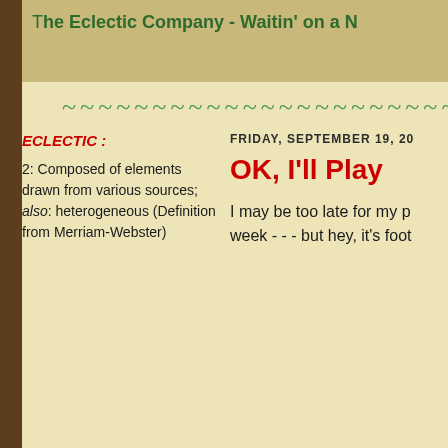The Eclectic Company - Waitin' on a N
~~~~~~~~~~~~~~~~~~~~~~~~~~~~~~~~~~~
ECLECTIC :
2: Composed of elements drawn from various sources; also: heterogeneous (Definition from Merriam-Webster)
FRIDAY, SEPTEMBER 19, 20
OK, I'll Play
I may be too late for my p week - - - but hey, it's foot
NCAA and the Big Ten Career TD Record: Montee Ball 83!!
[Figure (photo): Football player wearing red #28 jersey running with the ball]
[Figure (photo): Close-up of a football with a Big Ten logo/badge overlay]